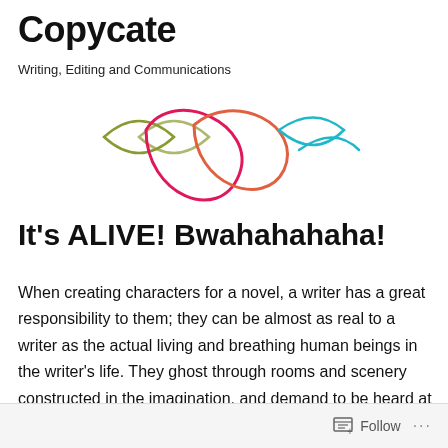Copycate
Writing, Editing and Communications
[Figure (logo): Decorative logo with overlapping fish-like loop shapes in olive/yellow-green, pink/magenta, salmon/coral, and teal/cyan colors arranged in a row]
It's ALIVE! Bwahahahaha!
When creating characters for a novel, a writer has a great responsibility to them; they can be almost as real to a writer as the actual living and breathing human beings in the writer's life. They ghost through rooms and scenery constructed in the imagination, and demand to be heard at the most inopportune moments.
Follow ...